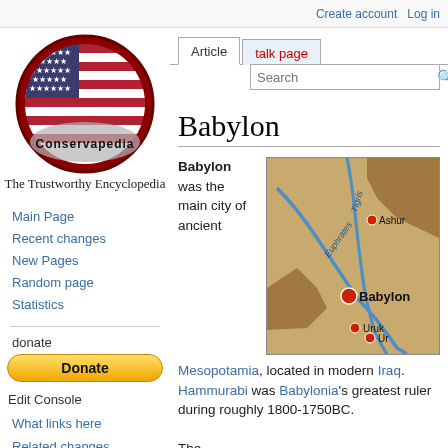Create account  Log in
[Figure (logo): Conservapedia logo: American flag in a circle with text 'Conservapedia' and tagline 'The Trustworthy Encyclopedia']
Main Page
Recent changes
New Pages
Random page
Statistics
donate
Edit Console
What links here
Related changes
Special pages
Printable version
Permanent link
Babylon
Babylon was the main city of ancient Mesopotamia, located in modern Iraq. Hammurabi was Babylonia's greatest ruler during roughly 1800-1750BC.
The
[Figure (map): Map of ancient Mesopotamia showing rivers Tigris and Euphrates with city markers for Ashur, Babylon, Uruk, and Ur. Babylon is prominently marked with a red dot and bold label.]